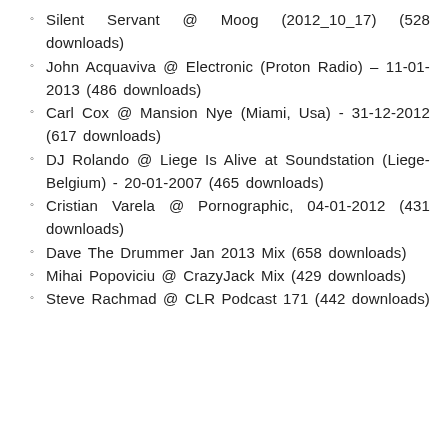Silent Servant @ Moog (2012_10_17) (528 downloads)
John Acquaviva @ Electronic (Proton Radio) – 11-01-2013 (486 downloads)
Carl Cox @ Mansion Nye (Miami, Usa) - 31-12-2012 (617 downloads)
DJ Rolando @ Liege Is Alive at Soundstation (Liege-Belgium) - 20-01-2007 (465 downloads)
Cristian Varela @ Pornographic, 04-01-2012 (431 downloads)
Dave The Drummer Jan 2013 Mix (658 downloads)
Mihai Popoviciu @ CrazyJack Mix (429 downloads)
Steve Rachmad @ CLR Podcast 171 (442 downloads)